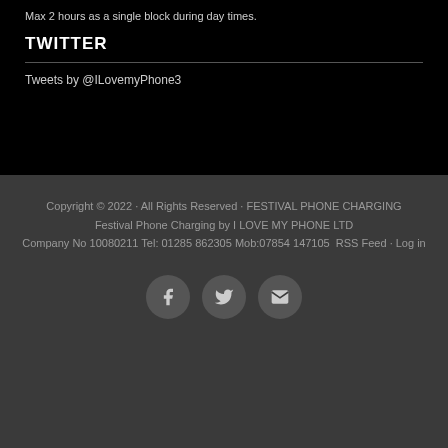Max 2 hours as a single block during day times.
TWITTER
Tweets by @ILovemyPhone3
Copyright © 2022 · All Rights Reserved · FESTIVAL PHONE CHARGING
Festival Phone Charging by I LOVE MY PHONE LTD
Company No 10080211 Tel: 01285 862305 Mob:07854 147105  RSS Feed · Log in
[Figure (infographic): Three circular social media icon buttons: Facebook (f), Twitter (bird), and Email (envelope), displayed in a row on a dark gray background.]